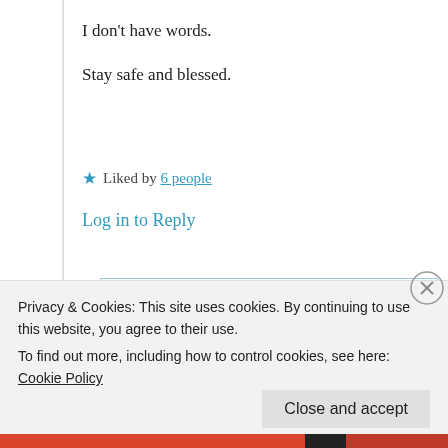I don't have words.
Stay safe and blessed.
★ Liked by 6 people
Log in to Reply
Suma Reddy
25th Jun 2021 at 6:39 pm
Privacy & Cookies: This site uses cookies. By continuing to use this website, you agree to their use.
To find out more, including how to control cookies, see here: Cookie Policy
Close and accept